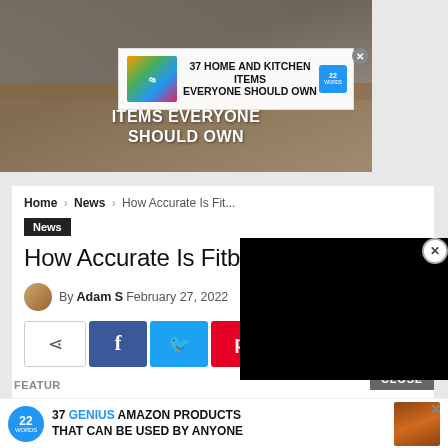[Figure (screenshot): Top advertisement banner: '37 HOME AND KITCHEN ITEMS EVERYONE SHOULD OWN' with colorful storage bags image and 22Words badge. Background shows food/kitchen items with overlaid bold white text 'ITEMS EVERYONE SHOULD OWN'.]
Home › News › How Accurate Is Fit...
News
How Accurate Is Fitbit Bloo...
By Adam S  February 27, 2022  👁 210  🔔 0
[Figure (screenshot): Social share buttons row: share icon (white/gray), Facebook (blue, f), Twitter (cyan, bird), Pinterest (red, p), WhatsApp (green, phone)]
[Figure (screenshot): Black video overlay panel in upper right corner with X close button]
[Figure (screenshot): Bottom advertisement banner: '37 GENIUS AMAZON PRODUCTS THAT CAN BE USED BY ANYONE' with 22Words circular badge and product image]
FEATUR